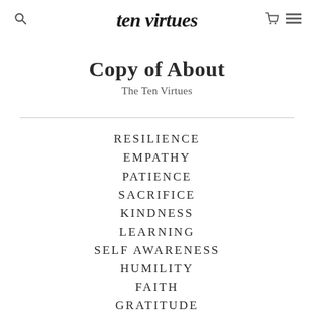ten virtues
Copy of About
The Ten Virtues
RESILIENCE
EMPATHY
PATIENCE
SACRIFICE
KINDNESS
LEARNING
SELF AWARENESS
HUMILITY
FAITH
GRATITUDE